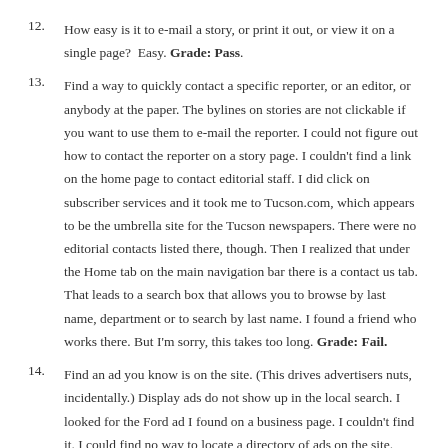How easy is it to e-mail a story, or print it out, or view it on a single page? Easy. Grade: Pass.
Find a way to quickly contact a specific reporter, or an editor, or anybody at the paper. The bylines on stories are not clickable if you want to use them to e-mail the reporter. I could not figure out how to contact the reporter on a story page. I couldn't find a link on the home page to contact editorial staff. I did click on subscriber services and it took me to Tucson.com, which appears to be the umbrella site for the Tucson newspapers. There were no editorial contacts listed there, though. Then I realized that under the Home tab on the main navigation bar there is a contact us tab. That leads to a search box that allows you to browse by last name, department or to search by last name. I found a friend who works there. But I'm sorry, this takes too long. Grade: Fail.
Find an ad you know is on the site. (This drives advertisers nuts, incidentally.) Display ads do not show up in the local search. I looked for the Ford ad I found on a business page. I couldn't find it. I could find no way to locate a directory of ads on the site. Grade: Fail.